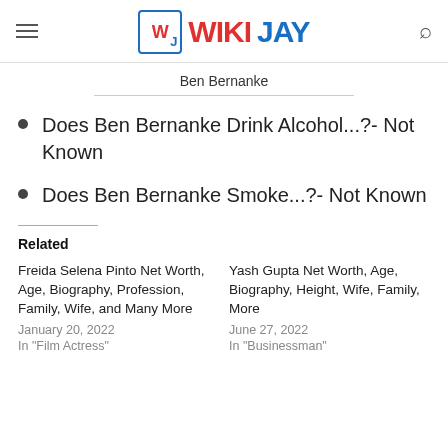WIKIJAY
Ben Bernanke
Does Ben Bernanke Drink Alcohol...?- Not Known
Does Ben Bernanke Smoke...?- Not Known
Related
Freida Selena Pinto Net Worth, Age, Biography, Profession, Family, Wife, and Many More
January 20, 2022
In "Film Actress"
Yash Gupta Net Worth, Age, Biography, Height, Wife, Family, More
June 27, 2022
In "Businessman"